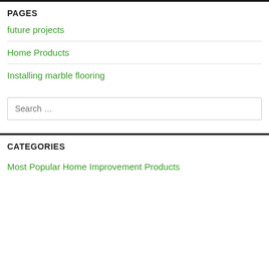PAGES
future projects
Home Products
Installing marble flooring
Search …
CATEGORIES
Most Popular Home Improvement Products